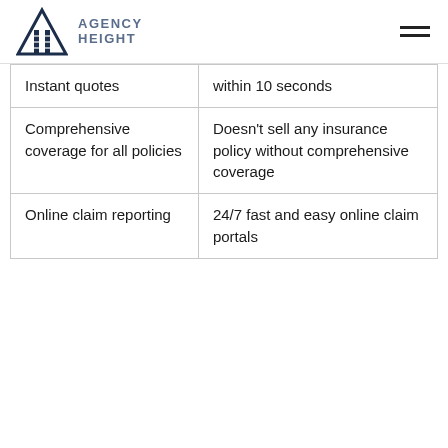Agency Height
| Instant quotes | within 10 seconds |
| Comprehensive coverage for all policies | Doesn't sell any insurance policy without comprehensive coverage |
| Online claim reporting | 24/7 fast and easy online claim portals |